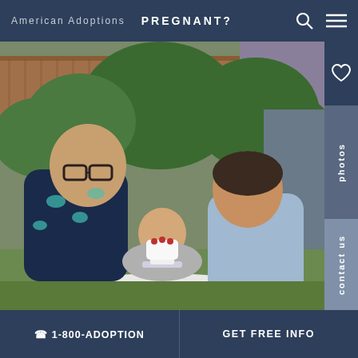American Adoptions  PREGNANT?
[Figure (photo): A couple with a baby at an outdoor birthday party. The man on the left wears a dark navy shirt with teal jellyfish print and glasses, smiling broadly. A toddler sits in the center in a baby seat, looking at a small white cake with raspberries on a glass cake stand. A woman on the right with dark hair pulled back wears a light blue top and smiles. They are in a backyard with wooden fence, green trees and plants, and a gray building in the background.]
top
photos
contact us
📞 1-800-ADOPTION    GET FREE INFO